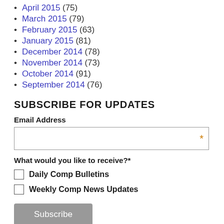April 2015 (75)
March 2015 (79)
February 2015 (63)
January 2015 (81)
December 2014 (78)
November 2014 (73)
October 2014 (91)
September 2014 (76)
SUBSCRIBE FOR UPDATES
Email Address
What would you like to receive?*
Daily Comp Bulletins
Weekly Comp News Updates
Subscribe